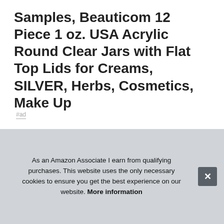Samples, Beauticom 12 Piece 1 oz. USA Acrylic Round Clear Jars with Flat Top Lids for Creams, SILVER, Herbs, Cosmetics, Make Up
#ad
[Figure (photo): Four thumbnail images of clear acrylic round jars with flat top lids: single jar, stacked jars, jar with lid off, and bag of silver/clear jars with Beauticom logo]
Bea
Pos
from
As an Amazon Associate I earn from qualifying purchases. This website uses the only necessary cookies to ensure you get the best experience on our website. More information